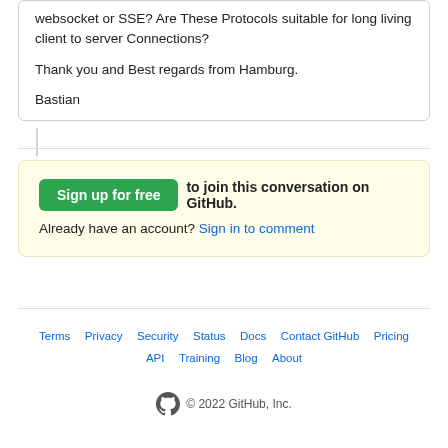websocket or SSE? Are These Protocols suitable for long living client to server Connections?

Thank you and Best regards from Hamburg.

Bastian
Sign up for free to join this conversation on GitHub. Already have an account? Sign in to comment
Terms  Privacy  Security  Status  Docs  Contact GitHub  Pricing  API  Training  Blog  About
© 2022 GitHub, Inc.